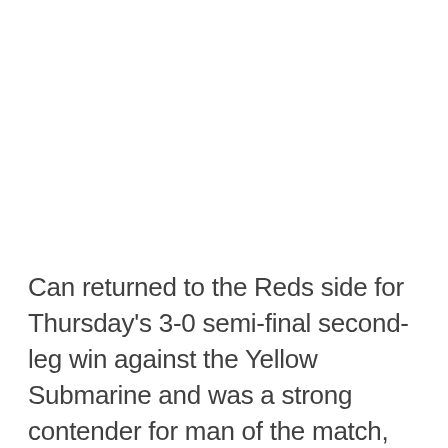Can returned to the Reds side for Thursday's 3-0 semi-final second-leg win against the Yellow Submarine and was a strong contender for man of the match, producing a magnificent performance in midfield and playing the full 90 minutes.